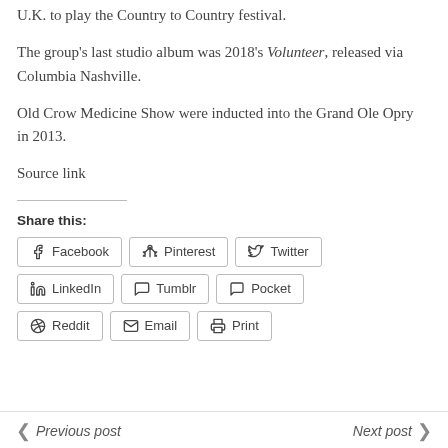U.K. to play the Country to Country festival.
The group's last studio album was 2018's Volunteer, released via Columbia Nashville.
Old Crow Medicine Show were inducted into the Grand Ole Opry in 2013.
Source link
Share this:
Facebook
Pinterest
Twitter
LinkedIn
Tumblr
Pocket
Reddit
Email
Print
Previous post
Next post